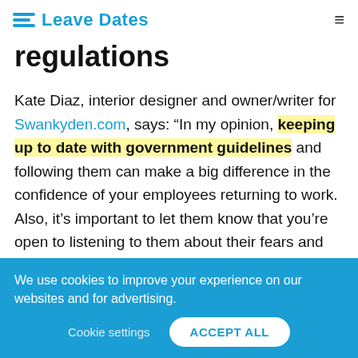Leave Dates
regulations
Kate Diaz, interior designer and owner/writer for Swankyden.com, says: “In my opinion, keeping up to date with government guidelines and following them can make a big difference in the confidence of your employees returning to work. Also, it’s important to let them know that you’re open to listening to them about their fears and anxieties about going to work and offer a
We use cookies to improve your experience on our websites and for advertising.
Cookie settings   ACCEPT ALL